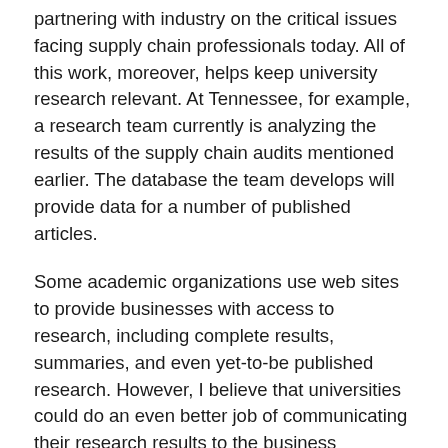partnering with industry on the critical issues facing supply chain professionals today. All of this work, moreover, helps keep university research relevant. At Tennessee, for example, a research team currently is analyzing the results of the supply chain audits mentioned earlier. The database the team develops will provide data for a number of published articles.
Some academic organizations use web sites to provide businesses with access to research, including complete results, summaries, and even yet-to-be published research. However, I believe that universities could do an even better job of communicating their research results to the business community.
EDUCATING FUTURE LEADERS
The fundamental purpose of university business schools is to educate the business leaders of tomorrow. Advisory councils that bring together business representatives and solicit their advice on what students need to know can help